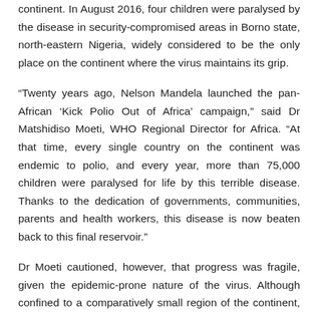continent. In August 2016, four children were paralysed by the disease in security-compromised areas in Borno state, north-eastern Nigeria, widely considered to be the only place on the continent where the virus maintains its grip.
“Twenty years ago, Nelson Mandela launched the pan-African ‘Kick Polio Out of Africa’ campaign,” said Dr Matshidiso Moeti, WHO Regional Director for Africa. “At that time, every single country on the continent was endemic to polio, and every year, more than 75,000 children were paralysed for life by this terrible disease. Thanks to the dedication of governments, communities, parents and health workers, this disease is now beaten back to this final reservoir.”
Dr Moeti cautioned, however, that progress was fragile, given the epidemic-prone nature of the virus. Although confined to a comparatively small region of the continent, experts warned that the virus could easily spread to under-protected areas of neighbouring countries. That is why regional public health ministers from five Lake Chad Basin countries –